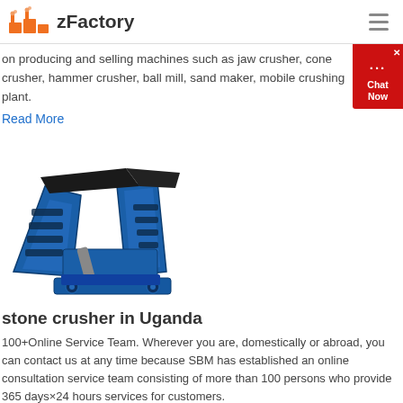zFactory
on producing and selling machines such as jaw crusher, cone crusher, hammer crusher, ball mill, sand maker, mobile crushing plant.
Read More
[Figure (photo): Blue industrial stone crusher machine photographed on white background]
stone crusher in Uganda
100+Online Service Team. Wherever you are, domestically or abroad, you can contact us at any time because SBM has established an online consultation service team consisting of more than 100 persons who provide 365 days×24 hours services for customers.
Read More
[Figure (photo): Industrial machinery in a factory setting, blue equipment visible]